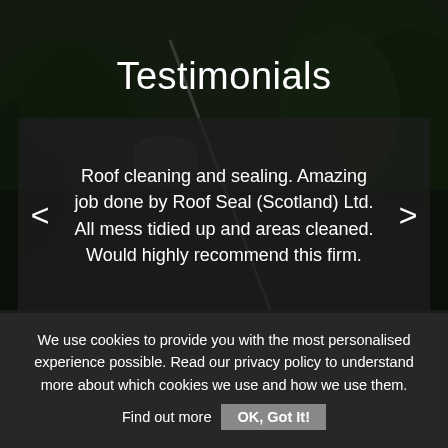[Figure (photo): Dark background photo of a rooftop and garden with trees, with a pressure washer hose visible. Used as the hero background image for a testimonials section.]
Testimonials
Roof cleaning and sealing. Amazing job done by Roof Seal (Scotland) Ltd. All mess tidied up and areas cleaned. Would highly recommend this firm.
We use cookies to provide you with the most personalised experience possible. Read our privacy policy to understand more about which cookies we use and how we use them. Find out more OK, Got It!